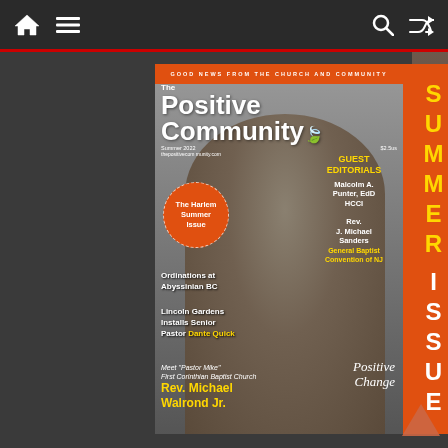Navigation bar with home, menu, search, and shuffle icons
[Figure (illustration): Magazine cover of 'The Positive Community' Summer 2022 issue featuring Rev. Michael Walrond Jr. ('Pastor Mike') of First Corinthian Baptist Church on the cover. Orange top banner reads 'GOOD NEWS FROM THE CHURCH AND COMMUNITY'. Features sections: Guest Editorials with Malcolm A. Punter EdD HCCI and Rev. J. Michael Sanders General Baptist Convention of NJ. Orange circle badge: 'The Harlem Summer Issue'. Left column text: 'Ordinations at Abyssinian BC' and 'Lincoln Gardens Installs Senior Pastor Dante Quick'. Bottom: 'Meet Pastor Mike First Corinthian Baptist Church, Rev. Michael Walrond Jr.' and 'Positive Change'. Orange side banner reads 'SUMMER ISSUE' vertically.]